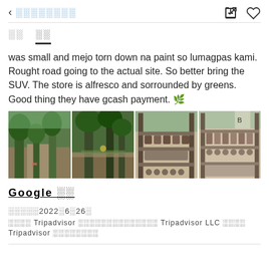← ░░░░░░░░
was small and mejo torn down na paint so lumagpas kami. Rought road going to the actual site. So better bring the SUV. The store is alfresco and sorrounded by greens. Good thing they have gcash payment. 🌿
[Figure (photo): Four photos of an outdoor store surrounded by greenery and trees, with shelves displaying products.]
Google ░░
░░░░░2022░6░26░
░░░░ Tripadvisor ░░░░░░░░░░░░░░ Tripadvisor LLC ░░░░ Tripadvisor ░░░░░░░░